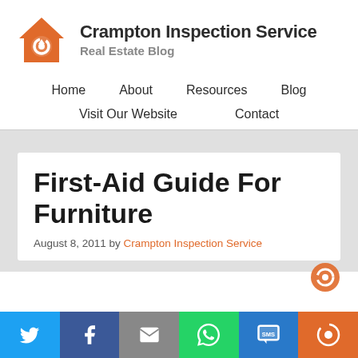[Figure (logo): Crampton Inspection Service logo: orange house shape with circular arrow icon, followed by bold text 'Crampton Inspection Service' and subtitle 'Real Estate Blog']
Home   About   Resources   Blog   Visit Our Website   Contact
First-Aid Guide For Furniture
August 8, 2011 by Crampton Inspection Service
[Figure (infographic): Social sharing bar with Twitter, Facebook, Email, WhatsApp, SMS, and Share buttons]